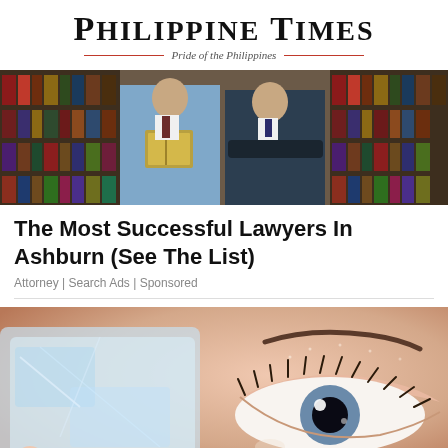PHILIPPINE TIMES — Pride of the Philippines
[Figure (photo): Two lawyers in suits standing together, one holding a law book, with bookshelves of legal volumes in the background]
The Most Successful Lawyers In Ashburn (See The List)
Attorney | Search Ads | Sponsored
[Figure (photo): Close-up of a person holding an ice cube against their eye/face area, with an eye and skin visible in macro detail]